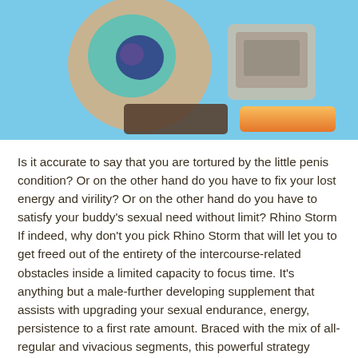[Figure (photo): Blurred product image showing supplement bottles/pills on a light blue background with an orange button element visible at the bottom]
Is it accurate to say that you are tortured by the little penis condition? Or on the other hand do you have to fix your lost energy and virility? Or on the other hand do you have to satisfy your buddy's sexual need without limit? Rhino Storm If indeed, why don't you pick Rhino Storm that will let you to get freed out of the entirety of the intercourse-related obstacles inside a limited capacity to focus time. It's anything but a male-further developing supplement that assists with upgrading your sexual endurance, energy, persistence to a first rate amount. Braced with the mix of all-regular and vivacious segments, this powerful strategy takes your